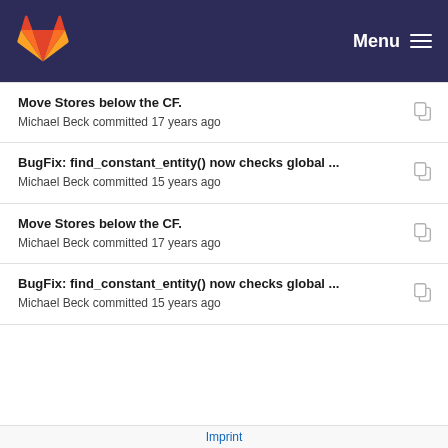GitLab — Menu
Move Stores below the CF.
Michael Beck committed 17 years ago
BugFix: find_constant_entity() now checks global ...
Michael Beck committed 15 years ago
Move Stores below the CF.
Michael Beck committed 17 years ago
BugFix: find_constant_entity() now checks global ...
Michael Beck committed 15 years ago
Simple Load/Store optimization
Michael Beck committed 17 years ago
make the Load/Store Optimization more greedy: if ...
Michael Beck committed 16 years ago
BugFix:
Michael Beck committed 16 years ago
Imprint